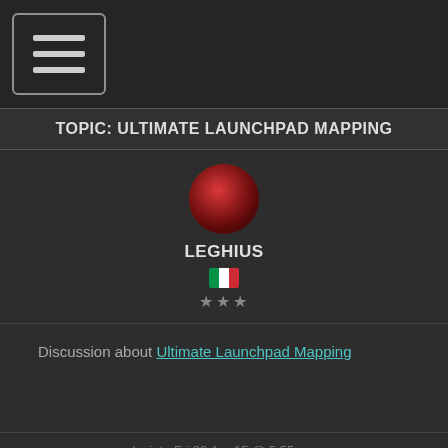[Figure (screenshot): Hamburger menu icon button (three horizontal lines in a rounded rectangle)]
TOPIC: ULTIMATE LAUNCHPAD MAPPING
[Figure (photo): Circular user avatar for LEGHIUS with red-toned image]
LEGHIUS
[Figure (illustration): Italian flag emoji]
★★★
Discussion about Ultimate Launchpad Mapping
Inviato Fri 03 Apr 15 @ 5:55 pm
[Figure (illustration): Circular avatar for CAMPLG with DJ icon]
CAMPLG
[Figure (illustration): Venezuelan flag emoji]